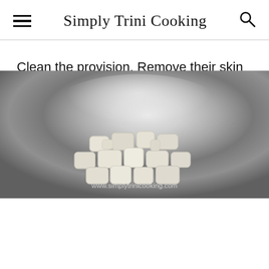Simply Trini Cooking
Clean the provision. Remove their skin and dice them. Boil the provision in water. When done remove the provision and set aside.
[Figure (photo): Diced white provision (root vegetables) in a stainless steel pot, viewed from above, with a watermark URL at the bottom.]